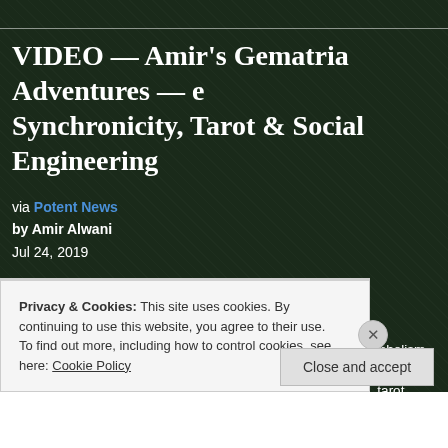VIDEO — Amir's Gematria Adventures — e… Synchronicity, Tarot & Social Engineering
via Potent News
by Amir Alwani
Jul 24, 2019
Are you interested in a very wide range of topics?
Have you ever wondered what numerology, geometry and symbolism can tell you… cybernetics, transhumanism, materialism, environmentalism, tarot, astrology, time… Carl Jung, synchronicity, Nikola Tesla, energy tools, science, mysticism, the Tree… Taoism, Hinduism, love, weddings, child-birth, government and the history of soc…
Privacy & Cookies: This site uses cookies. By continuing to use this website, you agree to their use.
To find out more, including how to control cookies, see here: Cookie Policy
Close and accept